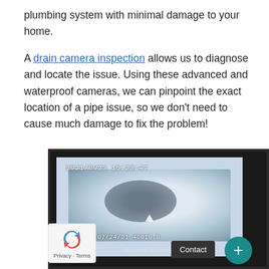plumbing system with minimal damage to your home.

A drain camera inspection allows us to diagnose and locate the issue. Using these advanced and waterproof cameras, we can pinpoint the exact location of a pipe issue, so we don't need to cause much damage to fix the problem!
[Figure (photo): A drain camera inspection monitor (CLEARVISION brand) showing a camera feed inside a pipe. The screen displays a timestamp '2021/0V23 15:23:47' at the top and '15:20:50 07/24/21 40010.0' at the bottom. A small triangle/arrow indicator is visible in the center of the screen. A 'Contact' button and a teal '+' circular button are overlaid on the bottom-right of the image. A reCAPTCHA privacy widget is visible at the bottom-left.]